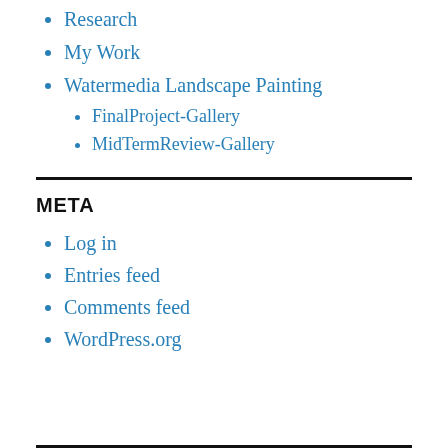Research
My Work
Watermedia Landscape Painting
FinalProject-Gallery
MidTermReview-Gallery
META
Log in
Entries feed
Comments feed
WordPress.org